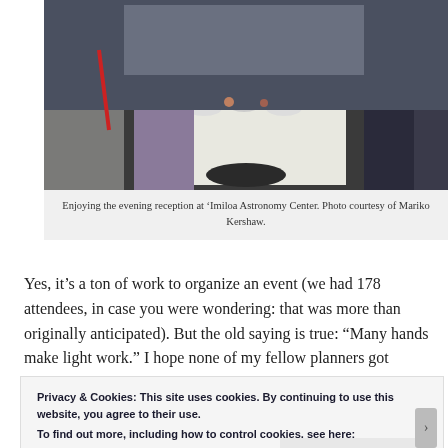[Figure (photo): People enjoying an evening reception around a round table with white tablecloth at 'Imiloa Astronomy Center.]
Enjoying the evening reception at ‘Imiloa Astronomy Center. Photo courtesy of Mariko Kershaw.
Yes, it’s a ton of work to organize an event (we had 178 attendees, in case you were wondering: that was more than originally anticipated). But the old saying is true: “Many hands make light work.” I hope none of my fellow planners got
Privacy & Cookies: This site uses cookies. By continuing to use this website, you agree to their use.
To find out more, including how to control cookies, see here:
Cookie Policy